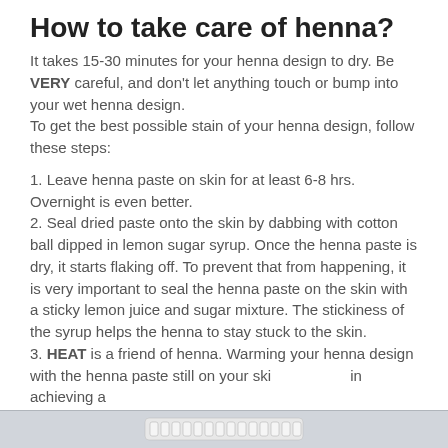How to take care of henna?
It takes 15-30 minutes for your henna design to dry. Be VERY careful, and don't let anything touch or bump into your wet henna design.
To get the best possible stain of your henna design, follow these steps:
1. Leave henna paste on skin for at least 6-8 hrs. Overnight is even better.
2. Seal dried paste onto the skin by dabbing with cotton ball dipped in lemon sugar syrup. Once the henna paste is dry, it starts flaking off. To prevent that from happening, it is very important to seal the henna paste on the skin with a sticky lemon juice and sugar mixture. The stickiness of the syrup helps the henna to stay stuck to the skin.
3. HEAT is a friend of henna. Warming your henna design with the henna paste still on your ski[keyboard] in achieving a